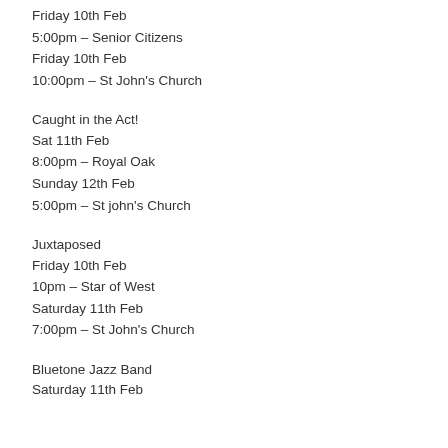Friday 10th Feb
5:00pm – Senior Citizens
Friday 10th Feb
10:00pm – St John's Church
Caught in the Act!
Sat 11th Feb
8:00pm – Royal Oak
Sunday 12th Feb
5:00pm – St john's Church
Juxtaposed
Friday 10th Feb
10pm – Star of West
Saturday 11th Feb
7:00pm – St John's Church
Bluetone Jazz Band
Saturday 11th Feb